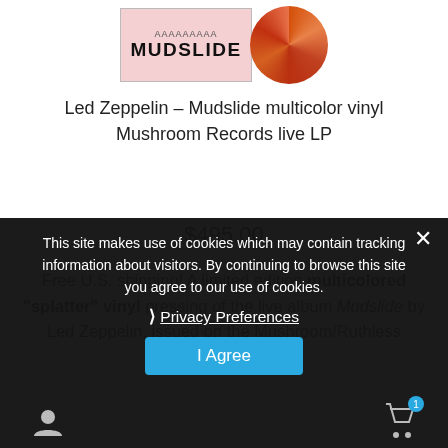[Figure (photo): Product image showing a vinyl record label reading MUDSLIDE in a pinkish sleeve, alongside a multicolored splatter vinyl disc.]
Led Zeppelin – Mudslide multicolor vinyl Mushroom Records live LP
$495.00
Free U.S. shipping! A limited edition multicolored "splatter" vinyl pressing of the live album Mudslide by Led Zeppelin, issued on the Mushroom/Ruthless Rhymes label
Add to cart
This site makes use of cookies which may contain tracking information about visitors. By continuing to browse this site you agree to our use of cookies.
❯ Privacy Preferences
I Agree